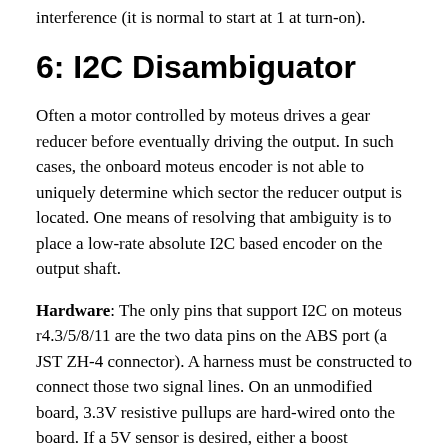interference (it is normal to start at 1 at turn-on).
6: I2C Disambiguator
Often a motor controlled by moteus drives a gear reducer before eventually driving the output. In such cases, the onboard moteus encoder is not able to uniquely determine which sector the reducer output is located. One means of resolving that ambiguity is to place a low-rate absolute I2C based encoder on the output shaft.
Hardware: The only pins that support I2C on moteus r4.3/5/8/11 are the two data pins on the ABS port (a JST ZH-4 connector). A harness must be constructed to connect those two signal lines. On an unmodified board, 3.3V resistive pullups are hard-wired onto the board. If a 5V sensor is desired, either a boost regulator will be required to operate it from the ABS port power, or a separate 5V